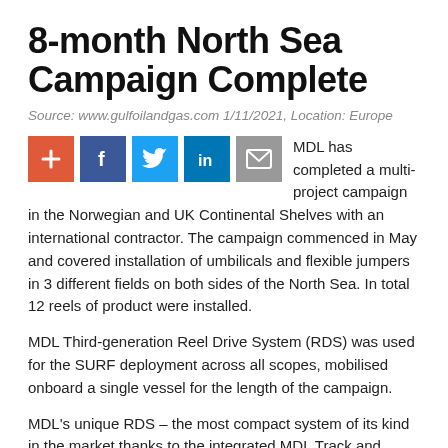8-month North Sea Campaign Complete
Source: www.gulfoilandgas.com 1/11/2021, Location: Europe
[Figure (other): Social media sharing buttons: add (+), Facebook, Twitter, LinkedIn, Email]
MDL has completed a multi-project campaign in the Norwegian and UK Continental Shelves with an international contractor. The campaign commenced in May and covered installation of umbilicals and flexible jumpers in 3 different fields on both sides of the North Sea. In total 12 reels of product were installed.
MDL Third-generation Reel Drive System (RDS) was used for the SURF deployment across all scopes, mobilised onboard a single vessel for the length of the campaign.
MDL's unique RDS – the most compact system of its kind in the market thanks to the integrated MDL Track and Cradle System – had made a comeback to the client's vessel, where it had been